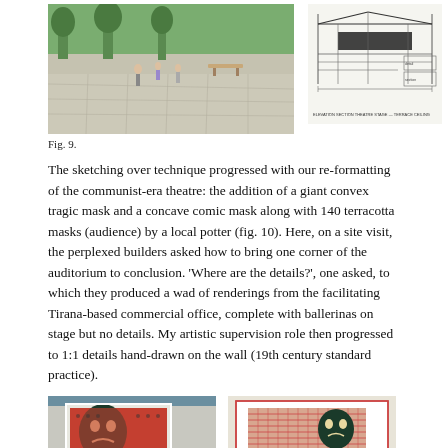[Figure (photo): Outdoor park or plaza with people walking on stone pavement, trees and benches visible]
[Figure (engineering-diagram): Technical architectural cross-section drawing of a theatre structure with annotations]
Fig. 9.
The sketching over technique progressed with our re-formatting of the communist-era theatre: the addition of a giant convex tragic mask and a concave comic mask along with 140 terracotta masks (audience) by a local potter (fig. 10). Here, on a site visit, the perplexed builders asked how to bring one corner of the auditorium to conclusion. 'Where are the details?', one asked, to which they produced a wad of renderings from the facilitating Tirana-based commercial office, complete with ballerinas on stage but no details. My artistic supervision role then progressed to 1:1 details hand-drawn on the wall (19th century standard practice).
[Figure (photo): Photograph of theatre facade with large mask and red terracotta mask grid]
[Figure (schematic): Architectural sketch/plan showing mask layout on theatre facade with red elements]